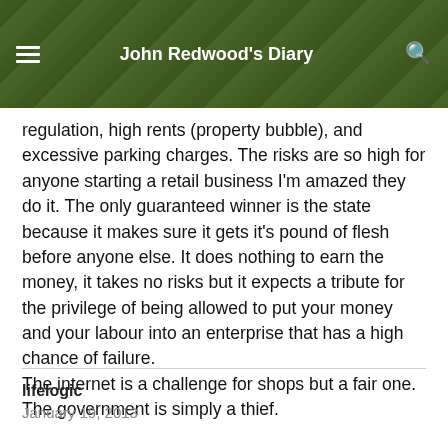John Redwood's Diary
regulation, high rents (property bubble), and excessive parking charges. The risks are so high for anyone starting a retail business I'm amazed they do it. The only guaranteed winner is the state because it makes sure it gets it's pound of flesh before anyone else. It does nothing to earn the money, it takes no risks but it expects a tribute for the privilege of being allowed to put your money and your labour into an enterprise that has a high chance of failure. The internet is a challenge for shops but a fair one. The government is simply a thief.
lifelogic
January 19, 2013